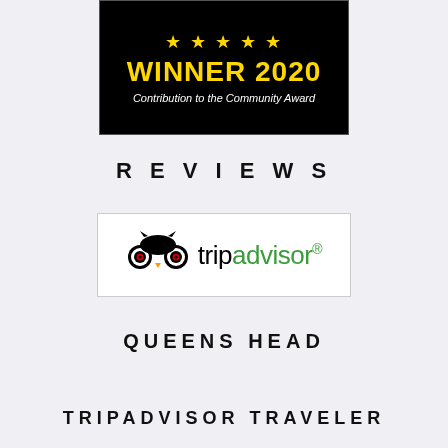[Figure (logo): Award badge with black background, gold stars, 'WINNER 2020' in yellow bold text, and 'Contribution to the Community Award' in white italic text below]
REVIEWS
[Figure (logo): TripAdvisor logo with owl icon and tripadvisor text, 'trip' in black and 'advisor' in green with registered trademark symbol]
QUEENS HEAD
TRIPADVISOR TRAVELER